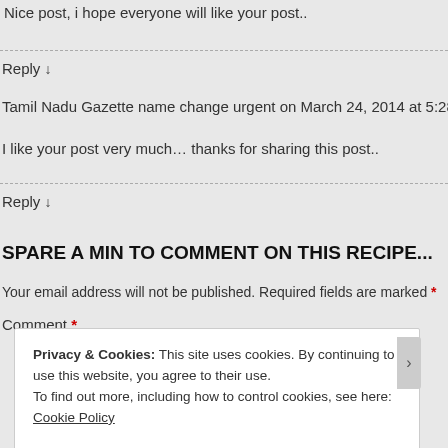Nice post, i hope everyone will like your post..
Reply ↓
Tamil Nadu Gazette name change urgent on March 24, 2014 at 5:28 pm said:
I like your post very much… thanks for sharing this post..
Reply ↓
SPARE A MIN TO COMMENT ON THIS RECIPE...
Your email address will not be published. Required fields are marked *
Comment *
Privacy & Cookies: This site uses cookies. By continuing to use this website, you agree to their use.
To find out more, including how to control cookies, see here: Cookie Policy
Close and accept